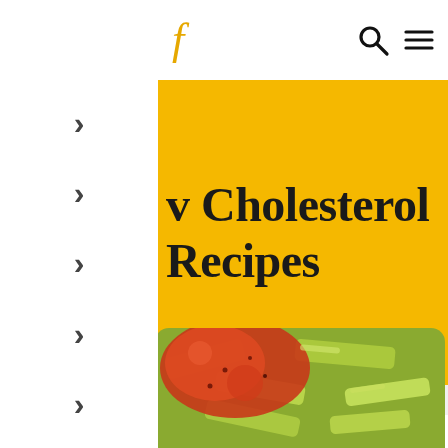f  [search icon] [menu icon]
Low Cholesterol Recipes
[Figure (photo): Close-up photo of braised celery with tomato sauce, green celery pieces with red tomato and garlic sauce]
>
>
>
>
>